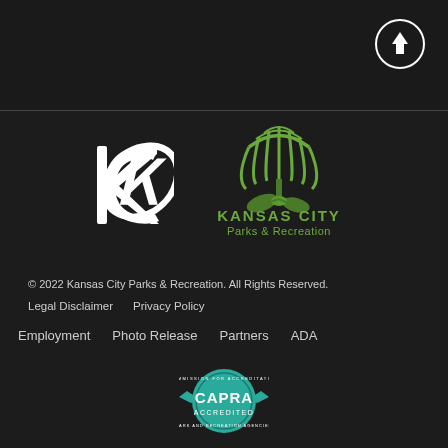[Figure (logo): Back to top arrow button circle in top right]
[Figure (logo): Kansas City municipal interlocking KC logo in white]
[Figure (logo): Kansas City Parks & Recreation green logo with fountain/plant design]
© 2022 Kansas City Parks & Recreation. All Rights Reserved.
Legal Disclaimer
Privacy Policy
Employment
Photo Release
Partners
ADA
[Figure (logo): CAPRA Accredited seal badge in teal/green]